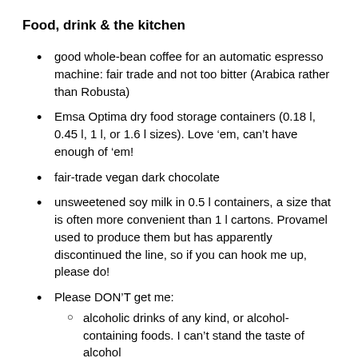Food, drink & the kitchen
good whole-bean coffee for an automatic espresso machine: fair trade and not too bitter (Arabica rather than Robusta)
Emsa Optima dry food storage containers (0.18 l, 0.45 l, 1 l, or 1.6 l sizes). Love ‘em, can’t have enough of ‘em!
fair-trade vegan dark chocolate
unsweetened soy milk in 0.5 l containers, a size that is often more convenient than 1 l cartons. Provamel used to produce them but has apparently discontinued the line, so if you can hook me up, please do!
Please DON’T get me:
alcoholic drinks of any kind, or alcohol-containing foods. I can’t stand the taste of alcohol
any food that is not vegan (including...